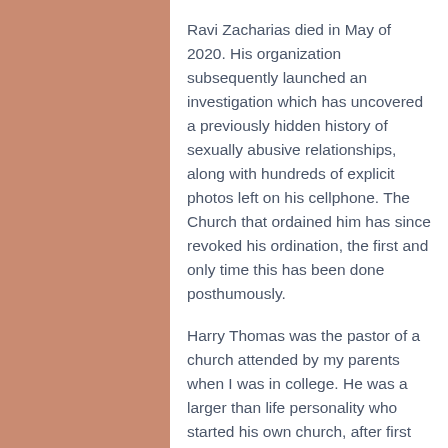Ravi Zacharias died in May of 2020. His organization subsequently launched an investigation which has uncovered a previously hidden history of sexually abusive relationships, along with hundreds of explicit photos left on his cellphone. The Church that ordained him has since revoked his ordination, the first and only time this has been done posthumously.
Harry Thomas was the pastor of a church attended by my parents when I was in college. He was a larger than life personality who started his own church, after first launching a hugely successful series of summertime outdoor Christian music events, called Creation Festivals. Pastor Harry's independent church grew